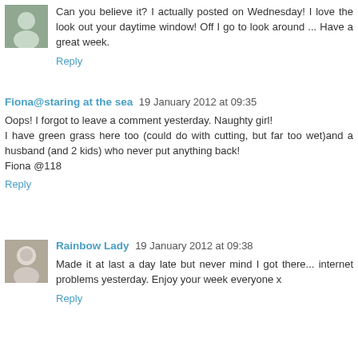Can you believe it? I actually posted on Wednesday! I love the look out your daytime window! Off I go to look around ... Have a great week.
Reply
Fiona@staring at the sea  19 January 2012 at 09:35
Oops! I forgot to leave a comment yesterday. Naughty girl! I have green grass here too (could do with cutting, but far too wet)and a husband (and 2 kids) who never put anything back!
Fiona @118
Reply
Rainbow Lady  19 January 2012 at 09:38
Made it at last a day late but never mind I got there... internet problems yesterday. Enjoy your week everyone x
Reply